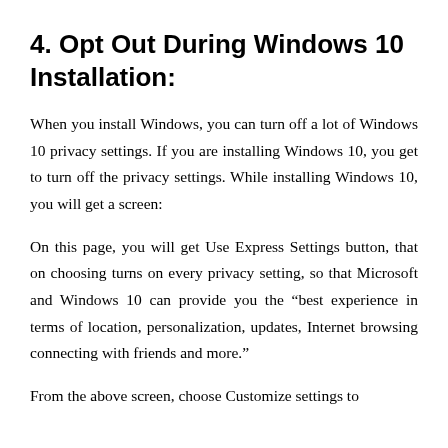4. Opt Out During Windows 10 Installation:
When you install Windows, you can turn off a lot of Windows 10 privacy settings. If you are installing Windows 10, you get to turn off the privacy settings. While installing Windows 10, you will get a screen:
On this page, you will get Use Express Settings button, that on choosing turns on every privacy setting, so that Microsoft and Windows 10 can provide you the “best experience in terms of location, personalization, updates, Internet browsing connecting with friends and more.”
From the above screen, choose Customize settings to